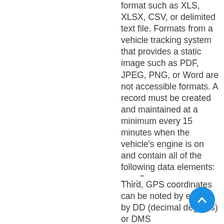format such as XLS, XLSX, CSV, or delimited text file. Formats from a vehicle tracking system that provides a static image such as PDF, JPEG, PNG, or Word are not accessible formats. A record must be created and maintained at a minimum every 15 minutes when the vehicle's engine is on and contain all of the following data elements: . . . . "
Third, GPS coordinates can be noted by either by DD (decimal degrees) or DMS